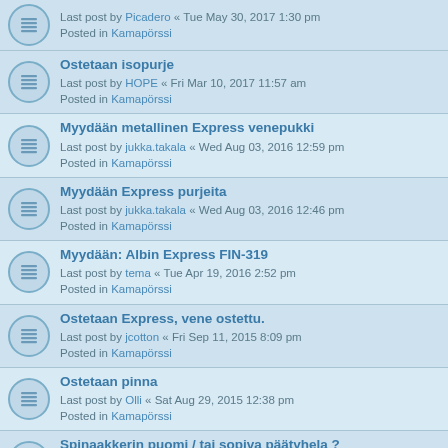Last post by Picadero « Tue May 30, 2017 1:30 pm
Posted in Kamapörssi
Ostetaan isopurje
Last post by HOPE « Fri Mar 10, 2017 11:57 am
Posted in Kamapörssi
Myydään metallinen Express venepukki
Last post by jukka.takala « Wed Aug 03, 2016 12:59 pm
Posted in Kamapörssi
Myydään Express purjeita
Last post by jukka.takala « Wed Aug 03, 2016 12:46 pm
Posted in Kamapörssi
Myydään: Albin Express FIN-319
Last post by tema « Tue Apr 19, 2016 2:52 pm
Posted in Kamapörssi
Ostetaan Express, vene ostettu.
Last post by jcotton « Fri Sep 11, 2015 8:09 pm
Posted in Kamapörssi
Ostetaan pinna
Last post by Olli « Sat Aug 29, 2015 12:38 pm
Posted in Kamapörssi
Spinaakkerin puomi / tai sopiva päätyhela ?
Last post by pietro « Mon Jul 20, 2015 8:19 am
Posted in Kamapörssi
Myydään erinomainen Albin Express!
Last post by SamuelK « Sun Jul 12, 2015 3:14 pm
Posted in Kamapörssi